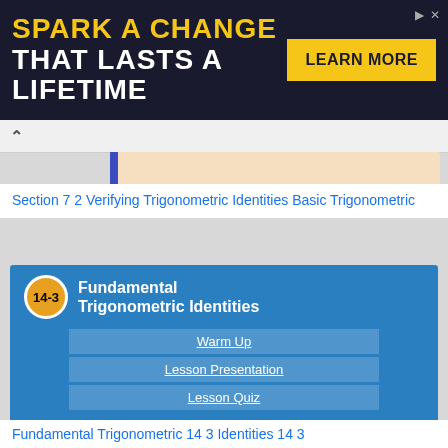[Figure (screenshot): Advertisement banner with dark navy background reading SPARK A CHANGE THAT LASTS A LIFETIME in yellow and white bold text, with a yellow LEARN MORE button on the right]
Section 7 2 Verifying Trigonometric Identities Basic Trigonometric
[Figure (screenshot): Slide thumbnail for Holt Algebra 2 lesson 14-3 Fundamental Trigonometric Identities on blue background, showing Warm Up, Lesson Presentation, and Lesson Quiz links]
Fundamental Trigonometric 14 3 Identities 14 3